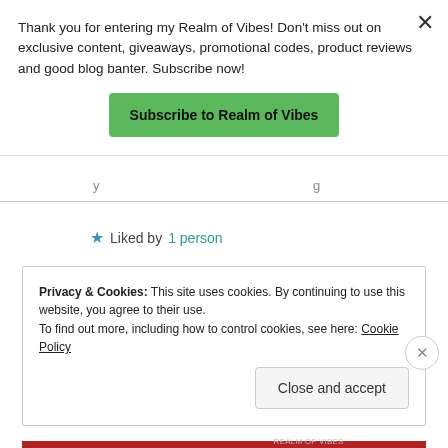Thank you for entering my Realm of Vibes! Don't miss out on exclusive content, giveaways, promotional codes, product reviews and good blog banter. Subscribe now!
Subscribe to Realm of Vibes
Liked by 1 person
REPLY
Privacy & Cookies: This site uses cookies. By continuing to use this website, you agree to their use. To find out more, including how to control cookies, see here: Cookie Policy
Close and accept